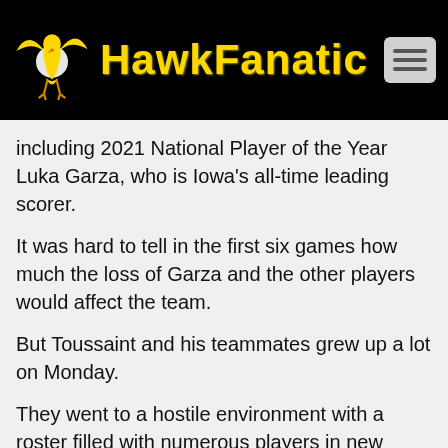HawkFanatic
including 2021 National Player of the Year Luka Garza, who is Iowa's all-time leading scorer.
It was hard to tell in the first six games how much the loss of Garza and the other players would affect the team.
But Toussaint and his teammates grew up a lot on Monday.
They went to a hostile environment with a roster filled with numerous players in new roles, and they survived.
“We had to fight,” Fran McCaffery said. “At some point, we knew there would be adversity. And how do you handle adversity in the course of a game? You don’t want to talk about it later. You want to deal with it in the present and